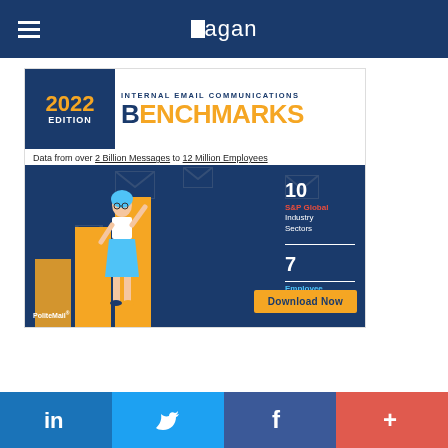Ragan
[Figure (infographic): 2022 Edition Internal Email Communications Benchmarks ad by PoliteMail. Data from over 2 Billion Messages to 12 Million Employees. Shows bar chart graphic with woman figure, 10 S&P Global Industry Sectors, 7 Employee Distribution Sizes, Download Now button.]
LinkedIn | Twitter | Facebook | +